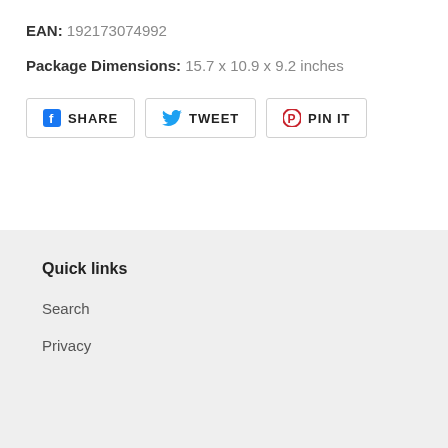EAN: 192173074992
Package Dimensions: 15.7 x 10.9 x 9.2 inches
[Figure (other): Social sharing buttons: Facebook SHARE, Twitter TWEET, Pinterest PIN IT]
Quick links
Search
Privacy